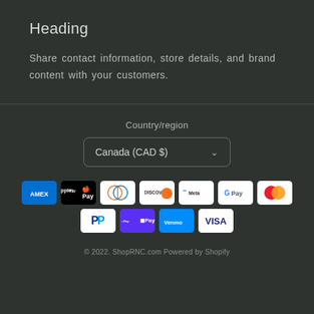Heading
Share contact information, store details, and brand content with your customers.
Country/region
Canada (CAD $)
[Figure (other): Payment method icons: American Express, Apple Pay, Diners Club, Discover, Meta Pay, Google Pay, Mastercard, PayPal, Shop Pay, Venmo, Visa]
© 2022. ShopRNC.com Powered by Shopify